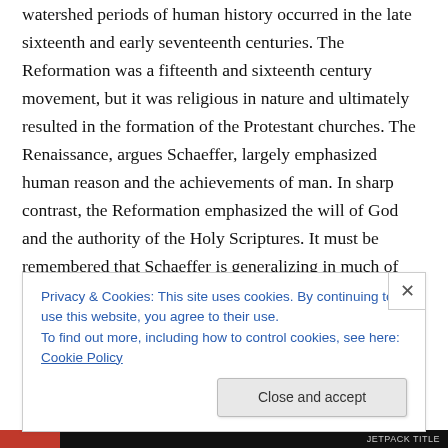watershed periods of human history occurred in the late sixteenth and early seventeenth centuries. The Reformation was a fifteenth and sixteenth century movement, but it was religious in nature and ultimately resulted in the formation of the Protestant churches. The Renaissance, argues Schaeffer, largely emphasized human reason and the achievements of man. In sharp contrast, the Reformation emphasized the will of God and the authority of the Holy Scriptures. It must be remembered that Schaeffer is generalizing in much of what is said here and that both movements had good
Privacy & Cookies: This site uses cookies. By continuing to use this website, you agree to their use.
To find out more, including how to control cookies, see here: Cookie Policy
Close and accept